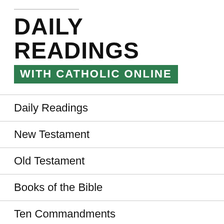DAILY READINGS WITH CATHOLIC ONLINE
Daily Readings
New Testament
Old Testament
Books of the Bible
Ten Commandments
More Bible
More of Catholic Online
Lent & Easter